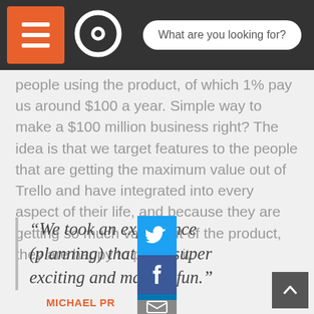What are you looking for?
people using the product, of which 1% pay us around $100 a year. Simple way to make a $100 million business right? The idea is that we target features to the people that are getting the maximum value out of Trello and have integrated into every aspect of their life, and because they are getting so much value out of the product, they are happy to pay for it.
“We took an experience (planning) that isn’t super exciting and made it fun.”
MICHAEL PR